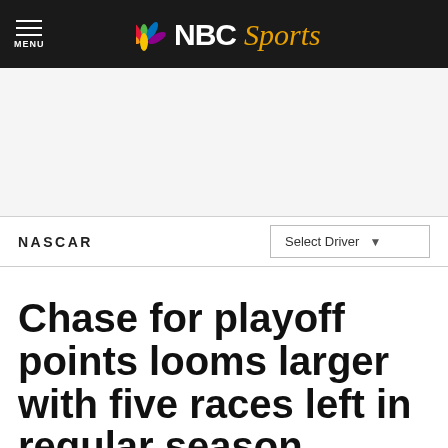NBC Sports — MENU
NASCAR
Chase for playoff points looms larger with five races left in regular season
By Dustin Long — Aug 3, 2017, 9:00 AM EDT